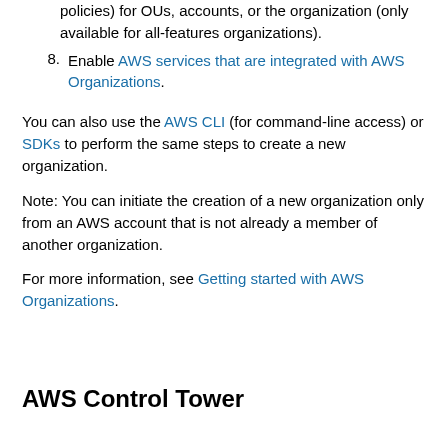policies) for OUs, accounts, or the organization (only available for all-features organizations).
8. Enable AWS services that are integrated with AWS Organizations.
You can also use the AWS CLI (for command-line access) or SDKs to perform the same steps to create a new organization.
Note: You can initiate the creation of a new organization only from an AWS account that is not already a member of another organization.
For more information, see Getting started with AWS Organizations.
AWS Control Tower